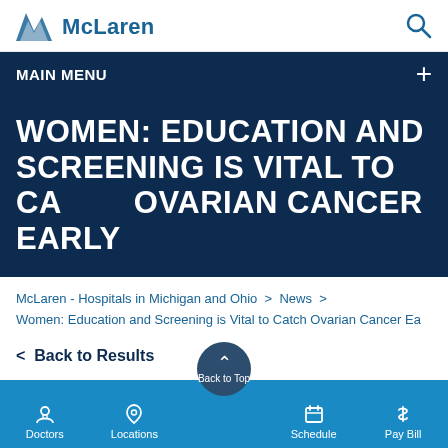McLaren
MAIN MENU
WOMEN: EDUCATION AND SCREENING IS VITAL TO CATCH OVARIAN CANCER EARLY
McLaren - Hospitals in Michigan and Ohio > News >
Women: Education and Screening is Vital to Catch Ovarian Cancer Ea
< Back to Results
Doctors  Locations  Back to Top  Schedule  Pay Bill